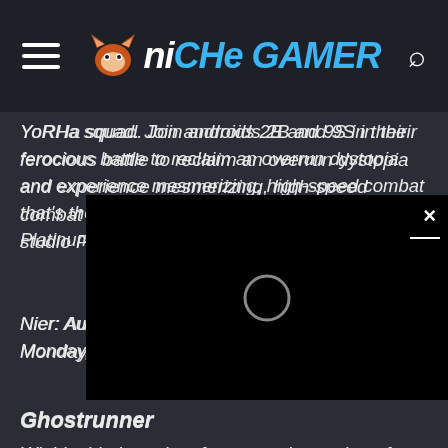Niche Gamer
YoRHa squad. Join androids 2B and 9S in their ferocious battle to reclaim an overrun dystopia and experience mesmerizing, high-speed combat that's the specialty of development studio PlatinumGames.
Nier: Automata is available on Monday, November 1, 2021.
[Figure (screenshot): Video player overlay widget with black background, close button (x) in top-right corner, and a loading spinner circle in the center]
Ghostrunner
Wield a blade and perform amazing parkour feats to battle your way up a megastructure tower city in this intense, fast-paced first-person adventure. Slice